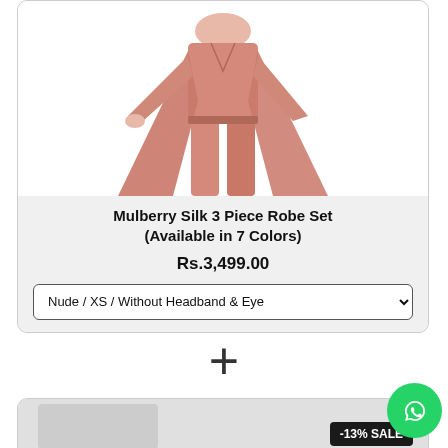[Figure (photo): Product photo of a model wearing a mulberry silk 3 piece robe set in nude/pink color, showing the robe open with matching pants]
Mulberry Silk 3 Piece Robe Set (Available in 7 Colors)
Rs.3,499.00
Nude / XS / Without Headband & Eye
+
-13% SALE